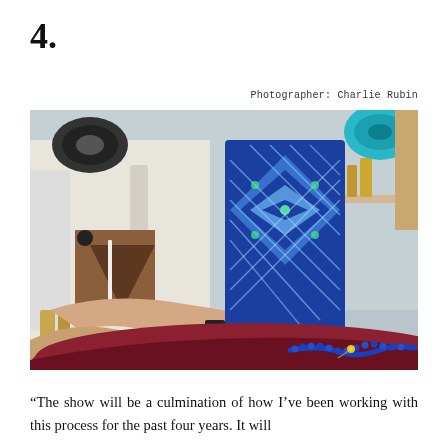4.
Photographer: Charlie Rubin
[Figure (photo): A person holding a blue and white patterned rectangular object (possibly a book or tile with geometric design) over a round red/maroon table in a workshop setting. Brass fittings and tools visible on shelves in the background, a blue beaded cord and yellow-tipped tool on the table surface. Industrial machinery visible on the left.]
“The show will be a culmination of how I’ve been working with this process for the past four years. It will